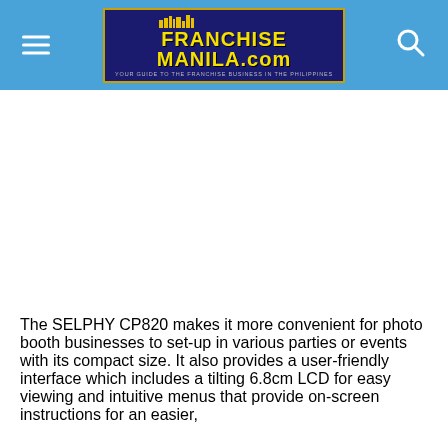FranchiseManila.com
[Figure (other): Advertisement/blank area below site header]
The SELPHY CP820 makes it more convenient for photo booth businesses to set-up in various parties or events with its compact size. It also provides a user-friendly interface which includes a tilting 6.8cm LCD for easy viewing and intuitive menus that provide on-screen instructions for an easier,